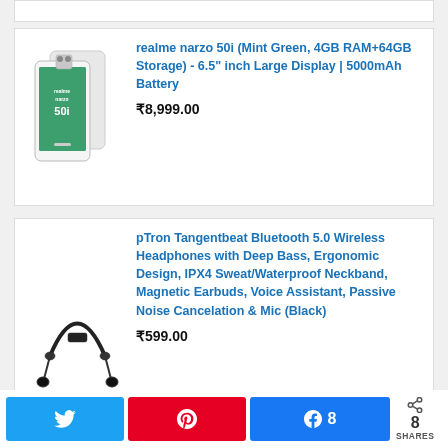[Figure (screenshot): Partial product card from previous listing showing truncated price]
realme narzo 50i (Mint Green, 4GB RAM+64GB Storage) - 6.5" inch Large Display | 5000mAh Battery
₹8,999.00
pTron Tangentbeat Bluetooth 5.0 Wireless Headphones with Deep Bass, Ergonomic Design, IPX4 Sweat/Waterproof Neckband, Magnetic Earbuds, Voice Assistant, Passive Noise Cancelation & Mic (Black)
₹599.00
[Figure (infographic): Social share bar with Twitter, Pinterest, Facebook buttons and share count of 8]